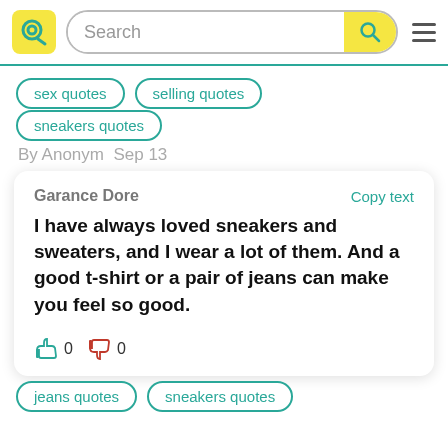[Figure (screenshot): Website header with yellow Q logo, search bar, and hamburger menu]
sex quotes
selling quotes
sneakers quotes
By Anonym  Sep 13
Garance Dore
Copy text
I have always loved sneakers and sweaters, and I wear a lot of them. And a good t-shirt or a pair of jeans can make you feel so good.
jeans quotes
sneakers quotes